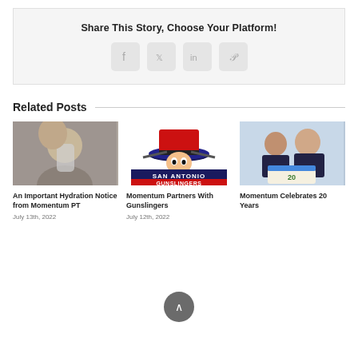Share This Story, Choose Your Platform!
[Figure (infographic): Social sharing icons for Facebook, Twitter, LinkedIn, and Pinterest in rounded square buttons]
Related Posts
[Figure (photo): Person drinking from a water bottle]
An Important Hydration Notice from Momentum PT
July 13th, 2022
[Figure (logo): San Antonio Gunslingers logo with cowboy mascot]
Momentum Partners With Gunslingers
July 12th, 2022
[Figure (photo): Two men holding a 20th anniversary cake for Momentum]
Momentum Celebrates 20 Years